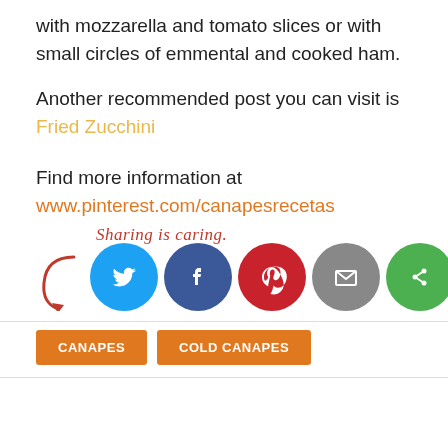with mozzarella and tomato slices or with small circles of emmental and cooked ham.
Another recommended post you can visit is Fried Zucchini
Find more information at www.pinterest.com/canapesrecetas
[Figure (infographic): Sharing is caring social share icons: Twitter, Facebook, Pinterest, Email, Share]
CANAPES
COLD CANAPES